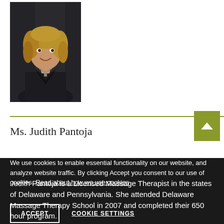[Figure (photo): Portrait photo of Ms. Judith Pantoja, a woman with curly blonde hair wearing a black top, photographed against a dark background]
Ms. Judith Pantoja
Licensed Massage Therapist
We use cookies to enable essential functionality on our website, and analyze website traffic. By clicking Accept you consent to our use of cookies. Read about how we use cookies
Judith Pantoja is a Licensed Massage Therapist in the states of Delaware and Pennsylvania. She attended Delaware Massage Therapy School in 2007 and completed their 650 hour program.
ACCEPT   COOKIE SETTINGS